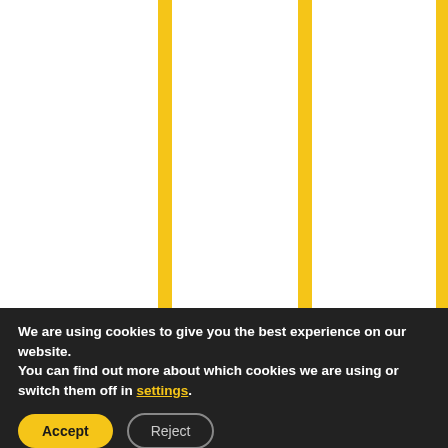had an amazing birthday. We would definitely recommend City Night Discos. Thank you again, Sarah
We are using cookies to give you the best experience on our website.
You can find out more about which cookies we are using or switch them off in settings.